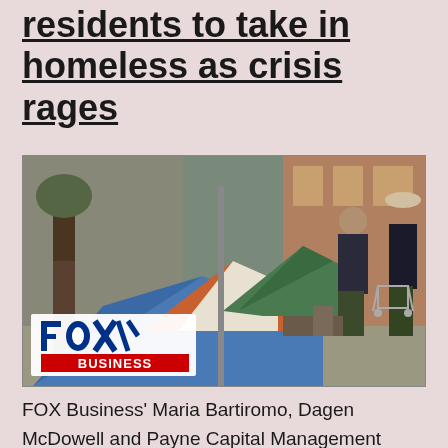residents to take in homeless as crisis rages
[Figure (photo): Street scene showing homeless encampment with tents (blue tarp, orange and white tent, green tarp) along a sidewalk next to trees. Two people visible in background near a building. Fox Business logo overlay in bottom-left of image.]
FOX Business' Maria Bartiromo, Dagen McDowell and Payne Capital Management